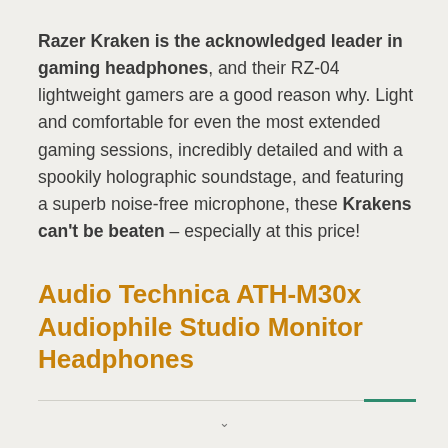Razer Kraken is the acknowledged leader in gaming headphones, and their RZ-04 lightweight gamers are a good reason why. Light and comfortable for even the most extended gaming sessions, incredibly detailed and with a spookily holographic soundstage, and featuring a superb noise-free microphone, these Krakens can't be beaten – especially at this price!
Audio Technica ATH-M30x Audiophile Studio Monitor Headphones